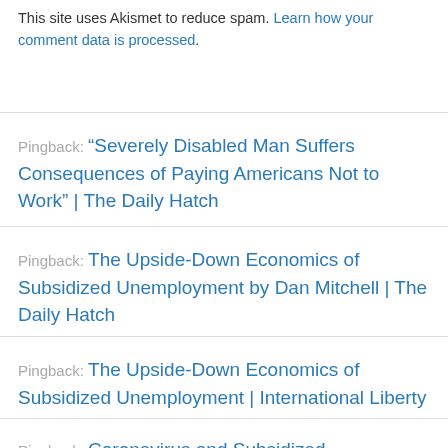This site uses Akismet to reduce spam. Learn how your comment data is processed.
Pingback: “Severely Disabled Man Suffers Consequences of Paying Americans Not to Work” | The Daily Hatch
Pingback: The Upside-Down Economics of Subsidized Unemployment by Dan Mitchell | The Daily Hatch
Pingback: The Upside-Down Economics of Subsidized Unemployment | International Liberty
Pingback: Coronavirus and Subsidized Unemployment | International Liberty